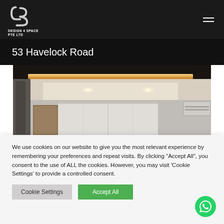Design 4 Space Pte Ltd
53 Havelock Road
[Figure (photo): Interior room photo showing a modern living space with cove ceiling lighting, recessed spotlights, white cabinetry, and an air conditioning unit on the right wall.]
We use cookies on our website to give you the most relevant experience by remembering your preferences and repeat visits. By clicking "Accept All", you consent to the use of ALL the cookies. However, you may visit 'Cookie Settings' to provide a controlled consent.
Cookie Settings | Accept All